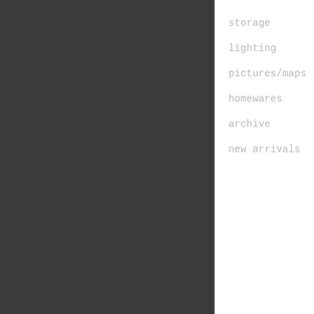storage
lighting
pictures/maps
homewares
archive
new arrivals
In the past the 1... situ for as long a... practice could rem... to the 1940's/50's
Constructed from s... stripped, polished... clean and unfussy.... glazing to all fou... makes it ideal for... small items can be... angles.
Made by the renown... London S.E.1, who... business directly... Hospital. They mar... instruments, appli... aseptic furniture... practices and dent... 1800's.
The quality of thi... its weight and det... hinges, makers pla... handle (sadly no k... green tint, the th... have ground and po...